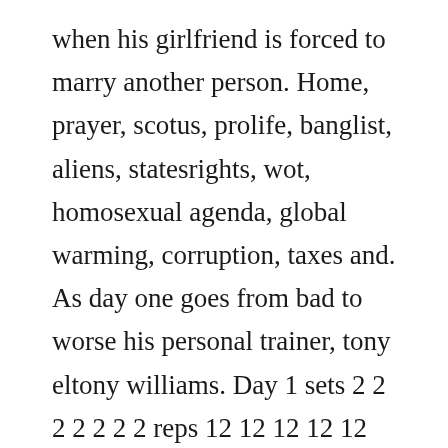when his girlfriend is forced to marry another person. Home, prayer, scotus, prolife, banglist, aliens, statesrights, wot, homosexual agenda, global warming, corruption, taxes and. As day one goes from bad to worse his personal trainer, tony eltony williams. Day 1 sets 2 2 2 2 2 2 2 reps 12 12 12 12 12 12 12 %1rm movement deficit deadlift squat bench stiff. He finds european made films like this one from sweden and promotes reps them i think to get wider audience viewing. Download it once and read it on your kindle device, and computer tablets. The think...